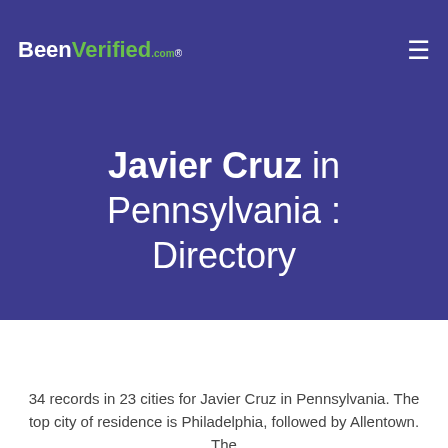BeenVerified.com
Javier Cruz in Pennsylvania : Directory
[Figure (screenshot): Search form with fields: Javier, Cruz, City, Pennsylvania dropdown, and SEARCH button]
34 records in 23 cities for Javier Cruz in Pennsylvania. The top city of residence is Philadelphia, followed by Allentown. The